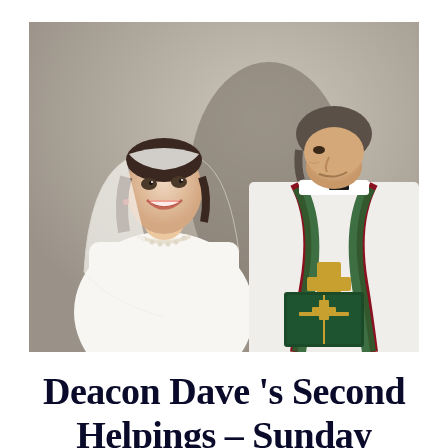[Figure (photo): A bride in a white wedding dress and veil smiling joyfully, facing a deacon or priest in white vestments with a green and gold stole bearing a cross, who is leaning toward her during a wedding ceremony.]
Deacon Dave 's Second Helpings – Sunday Homili...